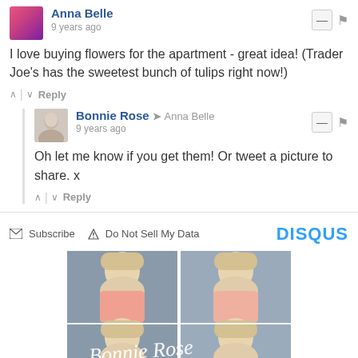Anna Belle · 9 years ago
I love buying flowers for the apartment - great idea! (Trader Joe's has the sweetest bunch of tulips right now!)
↑ | ↓  Reply
Bonnie Rose → Anna Belle · 9 years ago
Oh let me know if you get them! Or tweet a picture to share. x
↑ | ↓  Reply
✉ Subscribe  ▲ Do Not Sell My Data   DISQUS
[Figure (photo): Profile photo collage of Bonnie Rose showing four photos of a blonde woman with makeup, with 'Bonnie Rose' signature text overlay]